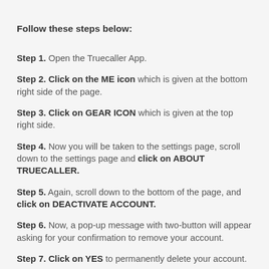Follow these steps below:
Step 1. Open the Truecaller App.
Step 2. Click on the ME icon which is given at the bottom right side of the page.
Step 3. Click on GEAR ICON which is given at the top right side.
Step 4. Now you will be taken to the settings page, scroll down to the settings page and click on ABOUT TRUECALLER.
Step 5. Again, scroll down to the bottom of the page, and click on DEACTIVATE ACCOUNT.
Step 6. Now, a pop-up message with two-button will appear asking for your confirmation to remove your account.
Step 7. Click on YES to permanently delete your account.